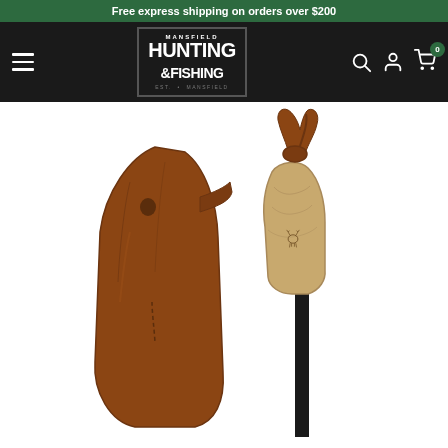Free express shipping on orders over $200
[Figure (logo): Mansfield Hunting & Fishing logo on dark background, with hamburger menu icon on left and search, user, cart icons on right]
[Figure (photo): Close-up photo of a hiking/walking stick with a wooden ergonomic handle featuring an engraved deer logo, a brown leather loop strap, and a brown leather axe sheath/cover beside it, against white background]